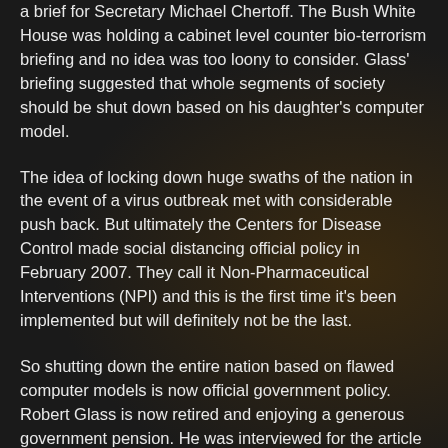a brief for Secretary Michael Chertoff. The Bush White House was holding a cabinet level counter bio-terrorism briefing and no idea was too loony to consider. Glass' briefing suggested that whole segments of society should be shut down based on his daughter's computer model.
The idea of locking down huge swaths of the nation in the event of a virus outbreak met with considerable push back. But ultimately the Centers for Disease Control made social distancing official policy in February 2007. They call it Non-Pharmaceutical Interventions (NPI) and this is the first time it's been implemented but will definitely not be the last.
So shutting down the entire nation based on flawed computer models is now official government policy. Robert Glass is now retired and enjoying a generous government pension. He was interviewed for the article by phone while relaxing in his second home in northern Idaho.
Mr. Glass waxed philosophical about the carnage wrought by his and his daughter's lock down computer model.